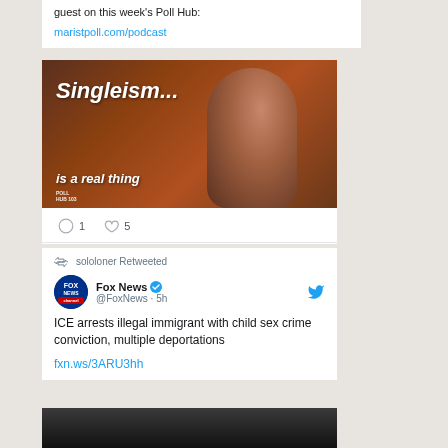guest on this week's Poll Hub: maristpoll.com/podcast
[Figure (photo): Image with text 'Singleism... is a real thing' overlaid on photo of a smiling woman with dark hair and beanie hat, with Poll Hub logo in bottom left]
1 comment, 5 likes
sololoner Retweeted
Fox News @FoxNews · 5h
ICE arrests illegal immigrant with child sex crime conviction, multiple deportations fxn.ws/3ARU3hh
[Figure (photo): Partial image at bottom, dark tones]